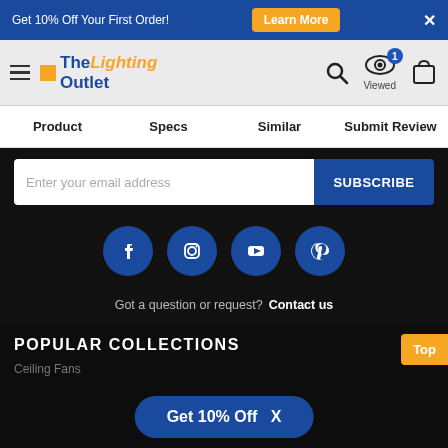Get 10% Off Your First Order! Learn More X
[Figure (logo): The Lighting Outlet logo with hamburger menu, search icon, viewed icon with badge of 1, and cart icon]
Product  Specs  Similar  Submit Review
Enter your email address  SUBSCRIBE
[Figure (infographic): Social media icons: Facebook, Instagram, YouTube, Pinterest — dark blue circles on black background]
Got a question or request? Contact us
POPULAR COLLECTIONS
Ceiling Fans
Get 10% Off  X